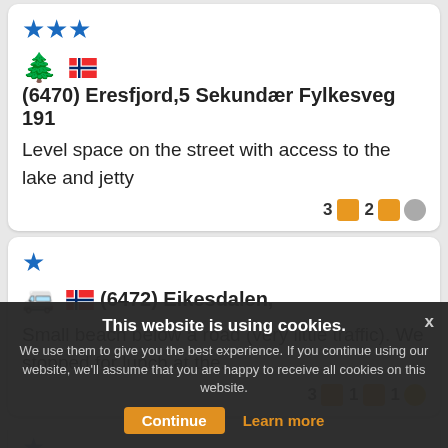★★★ (6470) Eresfjord,5 Sekundær Fylkesveg 191 — Level space on the street with access to the lake and jetty. 3 photos 2 comments
★ (6472) Eikesdalen, — Small beach below a road (very little traffic). We stopped for lunch at the... 3 photos 1 comment 1 smile
(6472) Nøsset — Small indentation on a curve directly on the lake and a view of a waterfall. Good...
This website is using cookies. We use them to give you the best experience. If you continue using our website, we'll assume that you are happy to receive all cookies on this website.
Continue   Learn more